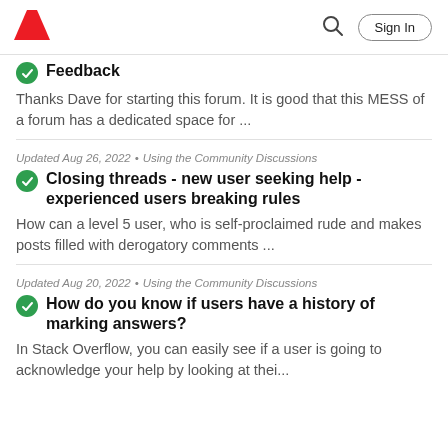Adobe | Sign In
Feedback
Thanks Dave for starting this forum. It is good that this MESS of a forum has a dedicated space for ...
Updated Aug 26, 2022 • Using the Community Discussions
Closing threads - new user seeking help - experienced users breaking rules
How can a level 5 user, who is self-proclaimed rude and makes posts filled with derogatory comments ...
Updated Aug 20, 2022 • Using the Community Discussions
How do you know if users have a history of marking answers?
In Stack Overflow, you can easily see if a user is going to acknowledge your help by looking at thei...